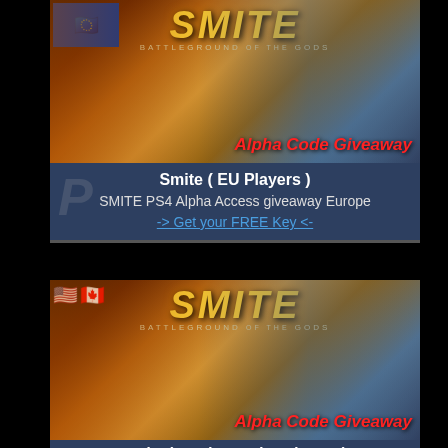[Figure (screenshot): SMITE Battleground of the Gods game banner with Alpha Code Giveaway text, EU flag in top-left corner, fantasy game characters fighting]
Smite ( EU Players )
SMITE PS4 Alpha Access giveaway Europe
-> Get your FREE Key <-
[Figure (screenshot): SMITE Battleground of the Gods game banner with Alpha Code Giveaway text, US and Canada flags in top-left corner, fantasy game characters fighting]
Smite ( North America Players )
SMITE PS4 Alpha Access Giveaway North America
-> Get your FREE Key <-